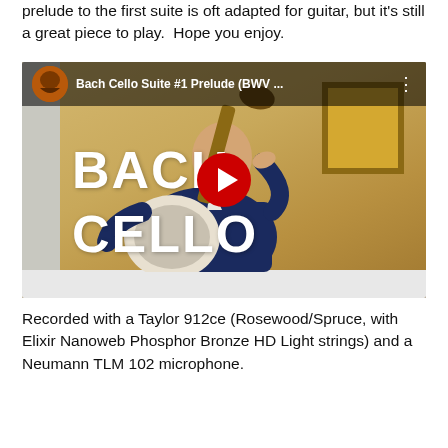prelude to the first suite is oft adapted for guitar, but it's still a great piece to play.  Hope you enjoy.
[Figure (screenshot): YouTube video thumbnail showing a man playing guitar with text overlays 'BACH' and 'CELLO' and the video title 'Bach Cello Suite #1 Prelude (BWV ...']
Recorded with a Taylor 912ce (Rosewood/Spruce, with Elixir Nanoweb Phosphor Bronze HD Light strings) and a Neumann TLM 102 microphone.